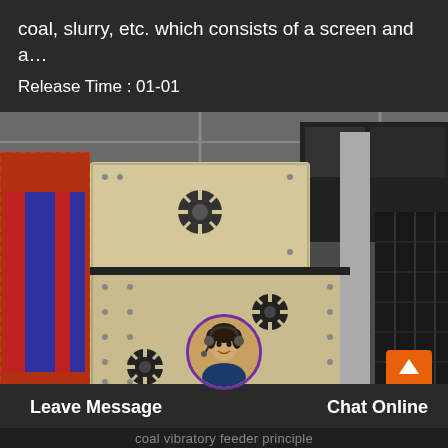coal, slurry, etc. which consists of a screen and a…
Release Time : 01-01
[Figure (photo): Industrial vibratory screening/feeder machines (large cream/off-white colored equipment with fan-shaped counterweights) stored inside a factory warehouse. Multiple units visible from an elevated angle, with red and black structural elements in background.]
Leave Message   Chat Online
coal vibratory feeder principle